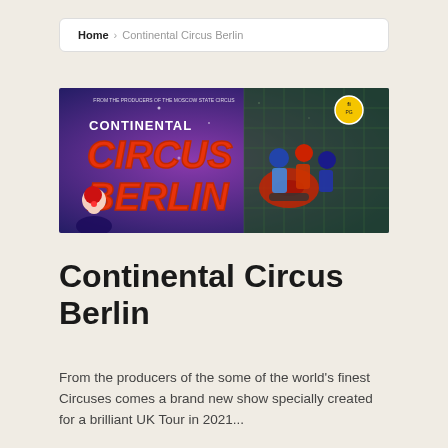Home > Continental Circus Berlin
[Figure (illustration): Promotional banner for Continental Circus Berlin showing colorful circus imagery with a clown, performers, motorbikes, and large orange/red text reading CONTINENTAL CIRCUS BERLIN on a purple/blue sparkly background.]
Continental Circus Berlin
From the producers of the some of the world's finest Circuses comes a brand new show specially created for a brilliant UK Tour in 2021...